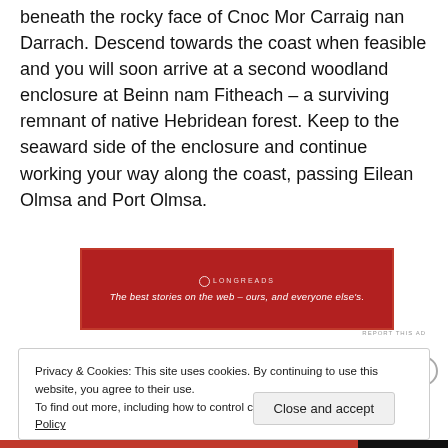beneath the rocky face of Cnoc Mor Carraig nan Darrach. Descend towards the coast when feasible and you will soon arrive at a second woodland enclosure at Beinn nam Fitheach – a surviving remnant of native Hebridean forest. Keep to the seaward side of the enclosure and continue working your way along the coast, passing Eilean Olmsa and Port Olmsa.
[Figure (other): Red advertisement banner for Longreads: logo at top, tagline 'The best stories on the web – ours, and everyone else's.']
REPORT THIS AD
Privacy & Cookies: This site uses cookies. By continuing to use this website, you agree to their use.
To find out more, including how to control cookies, see here: Cookie Policy
Close and accept